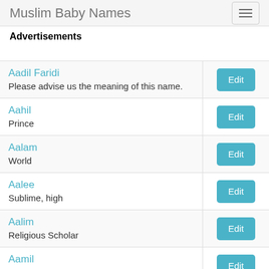Muslim Baby Names
Advertisements
| Name / Meaning | Action |
| --- | --- |
| Aadil Faridi
Please advise us the meaning of this name. | Edit |
| Aahil
Prince | Edit |
| Aalam
World | Edit |
| Aalee
Sublime, high | Edit |
| Aalim
Religious Scholar | Edit |
| Aamil
Doer, Work man | Edit |